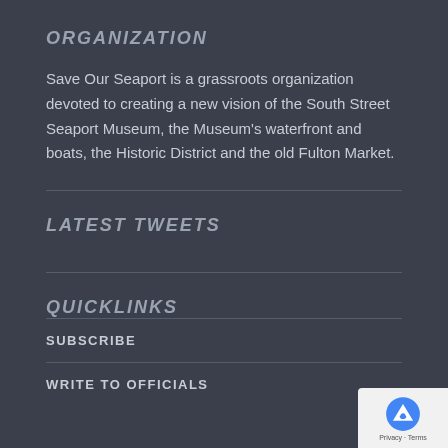ORGANIZATION
Save Our Seaport is a grassroots organization devoted to creating a new vision of the South Street Seaport Museum, the Museum's waterfront and boats, the Historic District and the old Fulton Market.
LATEST TWEETS
QUICKLINKS
SUBSCRIBE
WRITE TO OFFICIALS